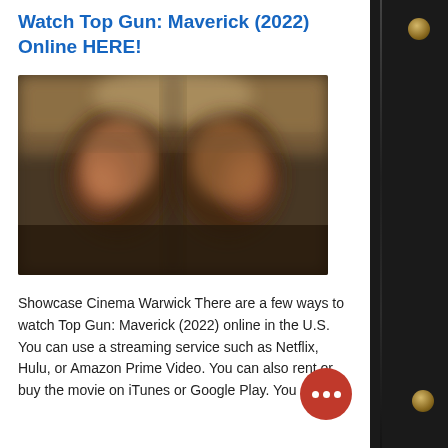Watch Top Gun: Maverick (2022) Online HERE!
[Figure (photo): Blurred/obscured image of two fighter pilots in cockpit gear, Top Gun: Maverick promotional or scene still]
Showcase Cinema Warwick There are a few ways to watch Top Gun: Maverick (2022) online in the U.S. You can use a streaming service such as Netflix, Hulu, or Amazon Prime Video. You can also rent or buy the movie on iTunes or Google Play. You can